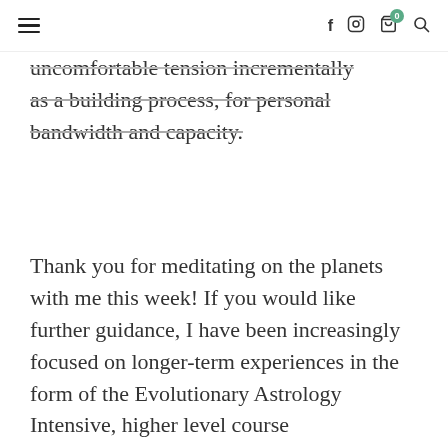≡  f  Instagram  🛒 0  🔍
uncomfortable tension incrementally as a building process, for personal bandwidth and capacity.
Thank you for meditating on the planets with me this week! If you would like further guidance, I have been increasingly focused on longer-term experiences in the form of the Evolutionary Astrology Intensive, higher level course METEORITE for alumni, and 1:1